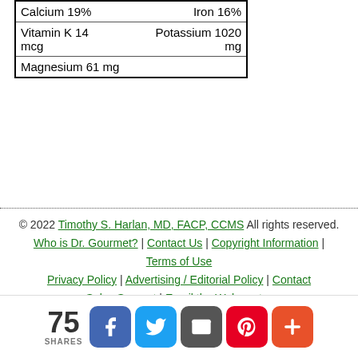| Calcium 19% | Iron 16% |
| Vitamin K 14 mcg | Potassium 1020 mg |
| Magnesium 61 mg |  |
© 2022 Timothy S. Harlan, MD, FACP, CCMS All rights reserved. Who is Dr. Gourmet? | Contact Us | Copyright Information | Terms of Use Privacy Policy | Advertising / Editorial Policy | Contact Sales Support | Email the Webmaster
75 SHARES